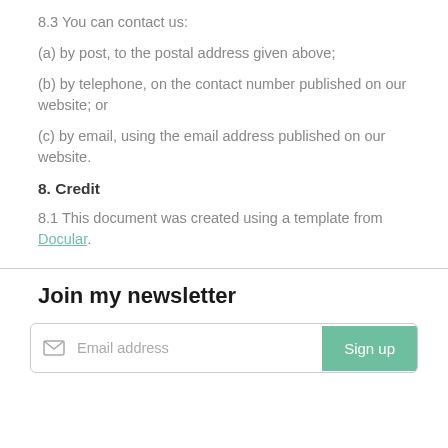8.3 You can contact us:
(a) by post, to the postal address given above;
(b) by telephone, on the contact number published on our website; or
(c) by email, using the email address published on our website.
8. Credit
8.1 This document was created using a template from Docular.
Join my newsletter